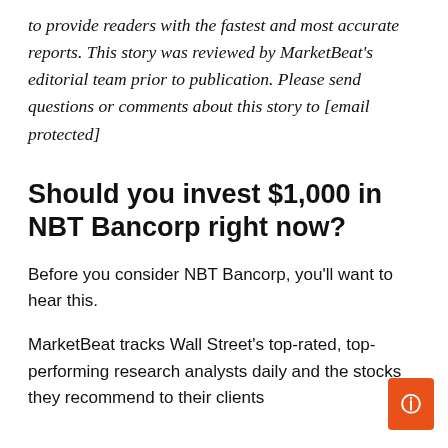to provide readers with the fastest and most accurate reports. This story was reviewed by MarketBeat's editorial team prior to publication. Please send questions or comments about this story to [email protected]
Should you invest $1,000 in NBT Bancorp right now?
Before you consider NBT Bancorp, you'll want to hear this.
MarketBeat tracks Wall Street's top-rated, top-performing research analysts daily and the stocks they recommend to their clients